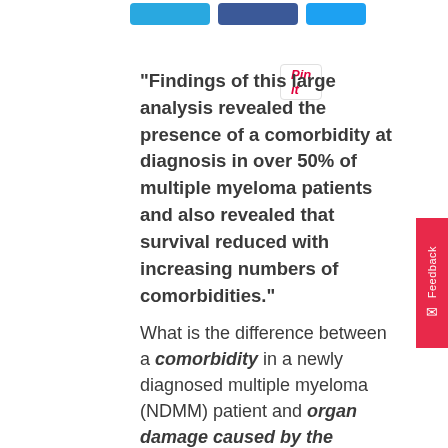[Figure (screenshot): Social share buttons (blue buttons) and a Pin it button at the top of the page]
“Findings of this large analysis revealed the presence of a comorbidity at diagnosis in over 50% of multiple myeloma patients and also revealed that survival reduced with increasing numbers of comorbidities.”
What is the difference between a comorbidity in a newly diagnosed multiple myeloma (NDMM) patient and organ damage caused by the multiple myeloma in a NDMM patient? A comorbidity is a disease